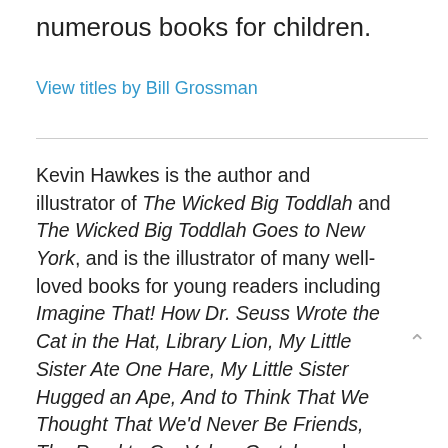numerous books for children.
View titles by Bill Grossman
Kevin Hawkes is the author and illustrator of The Wicked Big Toddlah and The Wicked Big Toddlah Goes to New York, and is the illustrator of many well-loved books for young readers including Imagine That! How Dr. Seuss Wrote the Cat in the Hat, Library Lion, My Little Sister Ate One Hare, My Little Sister Hugged an Ape, And to Think That We Thought That We'd Never Be Friends, The Road to Oz, Velma Gratch, and